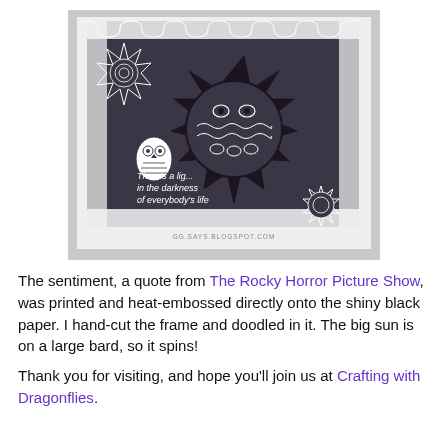[Figure (illustration): Black and white doodle/zentangle art card on dark background featuring a large decorative sun with owl motifs, smaller suns in corners, a small owl figure, an ornate border with wave patterns, and text reading 'There's a light in the darkness of everybody's life'. Watermark: GG.SAYS.BLOGSPOT.COM]
The sentiment, a quote from The Rocky Horror Picture Show, was printed and heat-embossed directly onto the shiny black paper. I hand-cut the frame and doodled in it. The big sun is on a large bard, so it spins!
Thank you for visiting, and hope you'll join us at Crafting with Dragonflies.